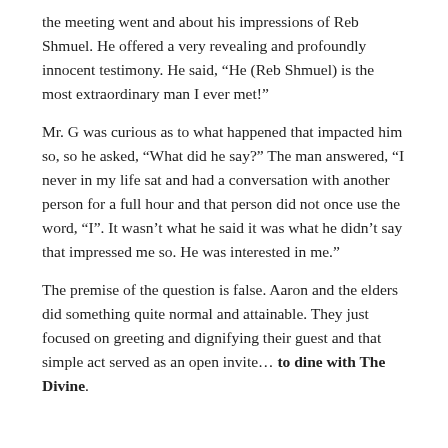the meeting went and about his impressions of Reb Shmuel. He offered a very revealing and profoundly innocent testimony. He said, “He (Reb Shmuel) is the most extraordinary man I ever met!”
Mr. G was curious as to what happened that impacted him so, so he asked, “What did he say?” The man answered, “I never in my life sat and had a conversation with another person for a full hour and that person did not once use the word, “I”. It wasn’t what he said it was what he didn’t say that impressed me so. He was interested in me.”
The premise of the question is false. Aaron and the elders did something quite normal and attainable. They just focused on greeting and dignifying their guest and that simple act served as an open invite… to dine with The Divine.